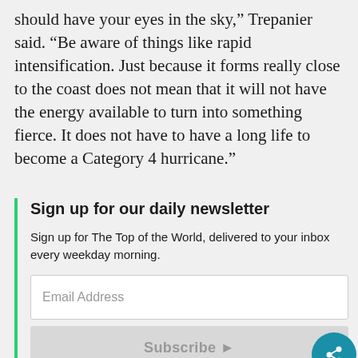should have your eyes in the sky,” Trepanier said. “Be aware of things like rapid intensification. Just because it forms really close to the coast does not mean that it will not have the energy available to turn into something fierce. It does not have to have a long life to become a Category 4 hurricane.”
Sign up for our daily newsletter
Sign up for The Top of the World, delivered to your inbox every weekday morning.